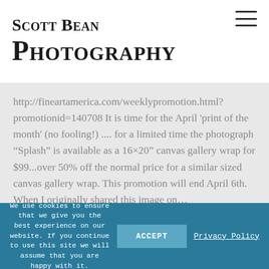Scott Bean Photography
http://fineartamerica.com/weeklypromotion.html?promotionid=140708 It is time for the April 'print of the month' (no fooling!) .... for a limited time the photograph “Splash” is available as a 16×20” canvas gallery wrap for $99...over 50% off the normal price for a similar sized canvas gallery wrap. This promotion will end April 6th. When I originally shared this image on…
We use cookies to ensure that we give you the best experience on our website. If you continue to use this site we will assume that you are happy with it.
ACCEPT
Privacy Policy